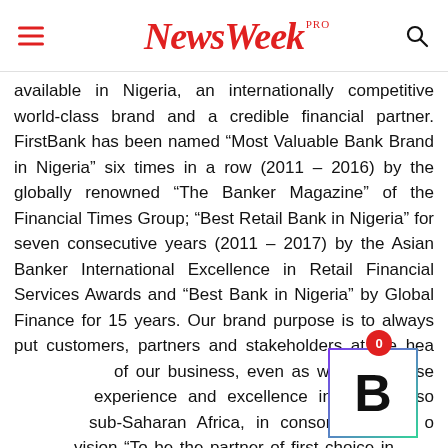NewsWeek PRO
available in Nigeria, an internationally competitive world-class brand and a credible financial partner. FirstBank has been named “Most Valuable Bank Brand in Nigeria” six times in a row (2011 – 2016) by the globally renowned “The Banker Magazine” of the Financial Times Group; “Best Retail Bank in Nigeria” for seven consecutive years (2011 – 2017) by the Asian Banker International Excellence in Retail Financial Services Awards and “Best Bank in Nigeria” by Global Finance for 15 years. Our brand purpose is to always put customers, partners and stakeholders at the heart of our business, even as we standardise our experience and excellence in financial solutions across sub-Saharan Africa, in consonance with our vision “To be the partner of first choice in the future”. Our brand promise is to always deliver the ultimate “gold standard” of value and excellence. This